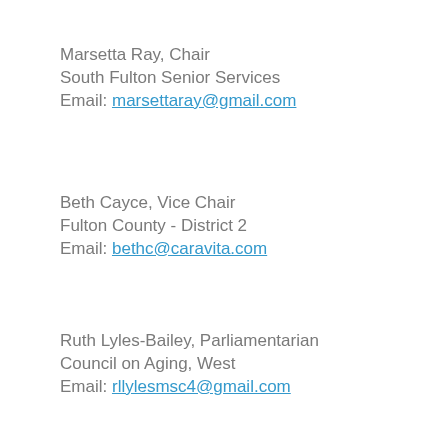Marsetta Ray, Chair
South Fulton Senior Services
Email: marsettaray@gmail.com
Beth Cayce, Vice Chair
Fulton County - District 2
Email: bethc@caravita.com
Ruth Lyles-Bailey, Parliamentarian
Council on Aging, West
Email: rllylesmsc4@gmail.com
Mary Blake, Chair Pro-Tem
Fulton County - At Large
Email: mobinc@yahoo.com